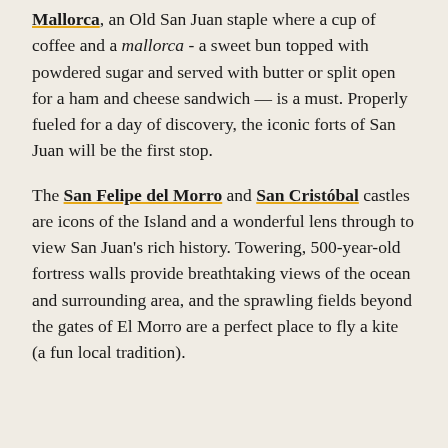Mallorca, an Old San Juan staple where a cup of coffee and a mallorca - a sweet bun topped with powdered sugar and served with butter or split open for a ham and cheese sandwich — is a must. Properly fueled for a day of discovery, the iconic forts of San Juan will be the first stop.
The San Felipe del Morro and San Cristóbal castles are icons of the Island and a wonderful lens through to view San Juan's rich history. Towering, 500-year-old fortress walls provide breathtaking views of the ocean and surrounding area, and the sprawling fields beyond the gates of El Morro are a perfect place to fly a kite (a fun local tradition).